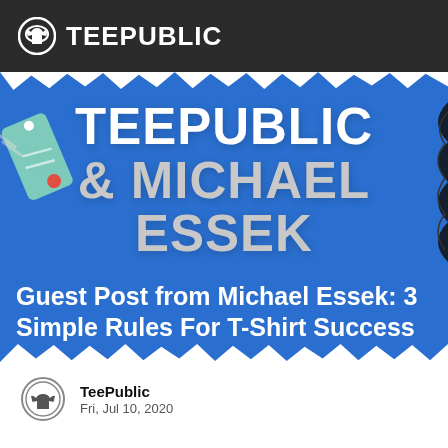TEEPUBLIC
[Figure (illustration): Blue banner image with bold white text reading 'TEEPUBLIC & MICHAEL ESSEK' and overlaid caption 'Guest Post from Michael Essek: 3 Simple Rules For T-Shirt Success'. Decorative elements include a t-shirt tag on the left and a spiky black shape on the right. Torn paper edges at top and bottom.]
Guest Post from Michael Essek: 3 Simple Rules For T-Shirt Success
TeePublic
Fri, Jul 10, 2020